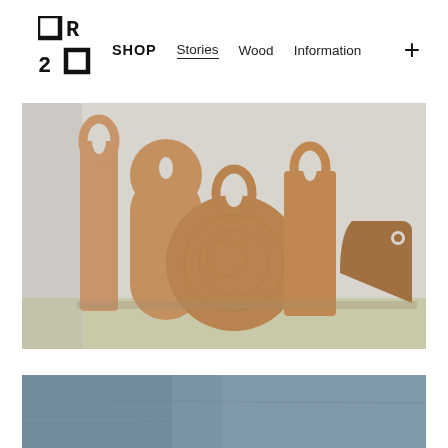OR20 | SHOP | Stories | Wood | Information
[Figure (photo): Multiple wooden cutting boards and serving boards of various shapes (tall rectangular with loop handle, arch-shaped, round, small rectangular, and wedge-shaped) leaning against a light grey wall on a pale yellow-green shelf surface.]
[Figure (photo): Partial view of a blue-grey surface, possibly a wooden board or object, cropped at the bottom of the page.]